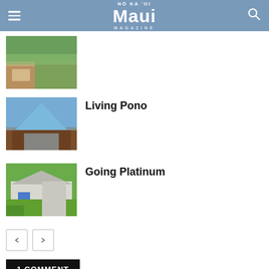NŌ KA 'OI Maui MAGAZINE
[Figure (photo): Thumbnail photo of an outdoor patio/lanai area with green lawn and seating, partially cropped at top of list]
[Figure (photo): Thumbnail photo of a building with a triangular glass roof structure, tropical setting with blue sky]
Living Pono
[Figure (photo): Thumbnail photo of a white house exterior with a blue door, lush green lawn and palm trees]
Going Platinum
1 COMMENT
Will Ma...